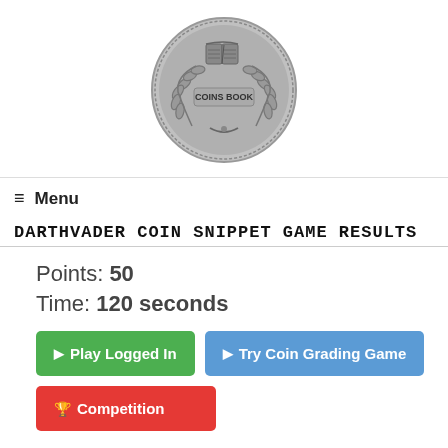[Figure (logo): Coins Book logo — a silver medal/coin with an open book at the top and laurel wreath, text 'COINS BOOK' in the center]
≡  Menu
DARTHVADER COIN SNIPPET GAME RESULTS
Points: 50
Time: 120 seconds
▶ Play Logged In
▶ Try Coin Grading Game
🏆 Competition